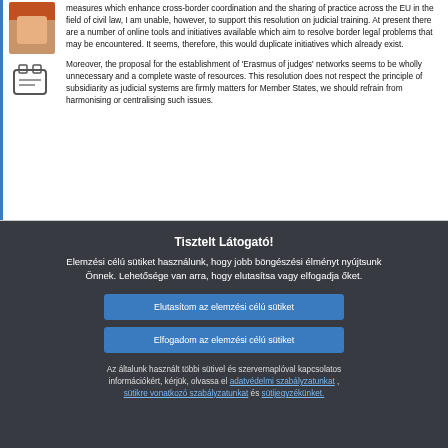measures which enhance cross-border coordination and the sharing of practice across the EU in the field of civil law, I am unable, however, to support this resolution on judicial training. At present there are a number of online tools and initiatives available which aim to resolve border legal problems that may be encountered. It seems, therefore, this would duplicate initiatives which already exist.
Moreover, the proposal for the establishment of 'Erasmus of judges' networks seems to be wholly unnecessary and a complete waste of resources. This resolution does not respect the principle of subsidiarity as judicial systems are firmly matters for Member States, we should refrain from harmonising or centralising such issues.
[Figure (other): Cookie consent overlay in Hungarian on a dark background with two blue buttons: 'Elutasítom az elemzési célú sütiket' and 'Elfogadom az elemzési célú sütiket', and a footer with links to privacy policy and cookie policy.]